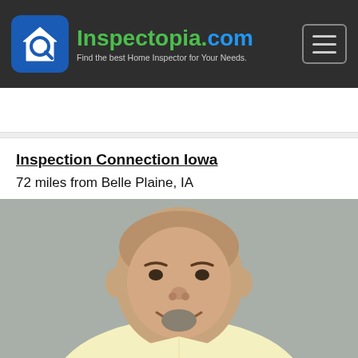[Figure (logo): Inspectopia.com logo with house/magnifying glass icon and tagline: Find the best Home Inspector for Your Needs.]
Inspection Connection Iowa
72 miles from Belle Plaine, IA
[Figure (photo): Headshot photo of a heavyset bald man with a goatee, smiling, wearing a light yellow polo shirt, against a gray background.]